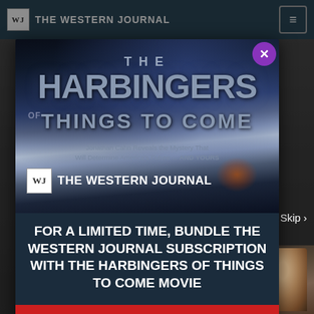THE WESTERN JOURNAL
[Figure (screenshot): Modal popup advertisement for 'The Harbingers of Things to Come' movie on The Western Journal website. The modal shows movie title art with dramatic cloudy sky background, The Western Journal logo, and promotional text.]
Jonathan Cahn Reveals the Mystery That Will Determine America's Future ... AND YOURS
FOR A LIMITED TIME, BUNDLE THE WESTERN JOURNAL SUBSCRIPTION WITH THE HARBINGERS OF THINGS TO COME MOVIE